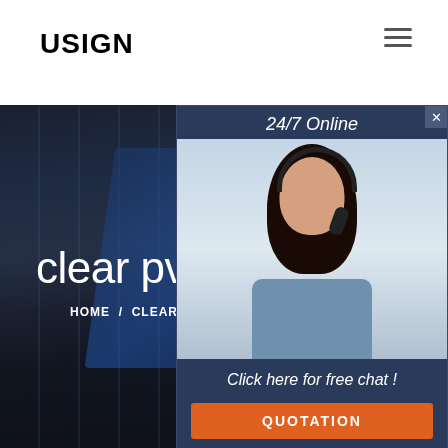USIGN
clear pvc pipe decoratin
HOME  /  CLEAR PVC PIPE DECORATI
[Figure (photo): Dark industrial warehouse background with blue steel signage frames]
[Figure (photo): 24/7 Online popup widget with a woman wearing a headset, 'Click here for free chat!' text and an orange QUOTATION button]